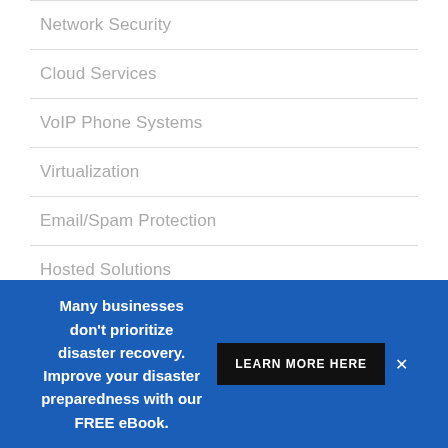Network Security
Cloud Services
VoIP Phone Systems
Virtualization
Email/Spam Protection
Hosted Solutions
Application & Database Development
Microsoft Office 365
Many businesses don't prioritize disaster recovery. Improve your disaster preparedness with our FREE eBook. LEARN MORE HERE